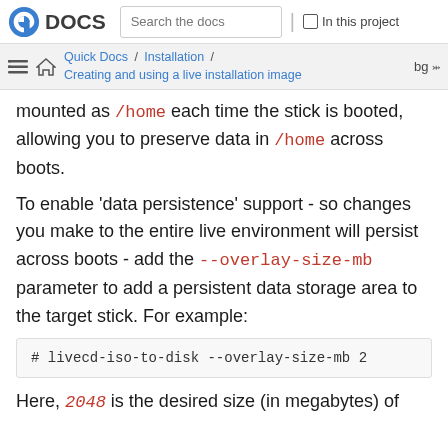Fedora DOCS | Search the docs | In this project
Quick Docs / Installation / Creating and using a live installation image | bg
mounted as /home each time the stick is booted, allowing you to preserve data in /home across boots.
To enable 'data persistence' support - so changes you make to the entire live environment will persist across boots - add the --overlay-size-mb parameter to add a persistent data storage area to the target stick. For example:
# livecd-iso-to-disk --overlay-size-mb 2
Here, 2048 is the desired size (in megabytes) of